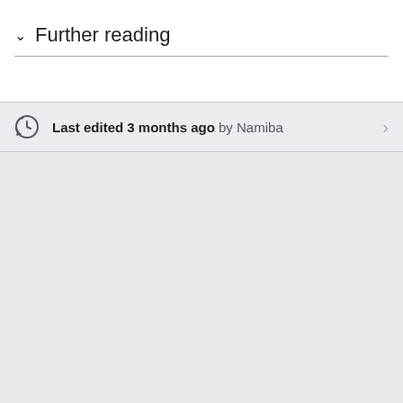Further reading
Last edited 3 months ago by Namiba